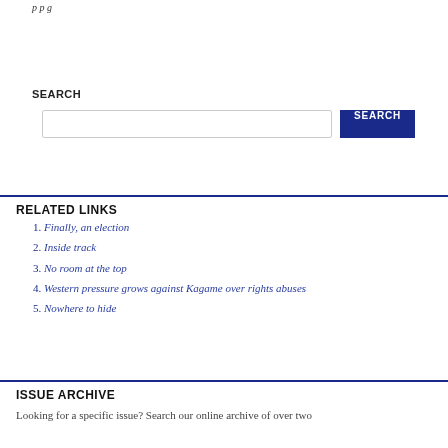SEARCH
Search input and button
RELATED LINKS
1. Finally, an election
2. Inside track
3. No room at the top
4. Western pressure grows against Kagame over rights abuses
5. Nowhere to hide
ISSUE ARCHIVE
Looking for a specific issue? Search our online archive of over two